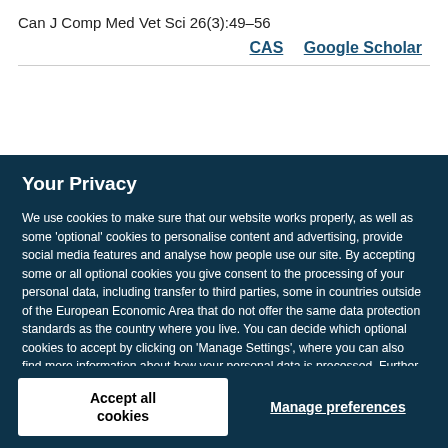Can J Comp Med Vet Sci 26(3):49–56
CAS   Google Scholar
Your Privacy
We use cookies to make sure that our website works properly, as well as some 'optional' cookies to personalise content and advertising, provide social media features and analyse how people use our site. By accepting some or all optional cookies you give consent to the processing of your personal data, including transfer to third parties, some in countries outside of the European Economic Area that do not offer the same data protection standards as the country where you live. You can decide which optional cookies to accept by clicking on 'Manage Settings', where you can also find more information about how your personal data is processed. Further information can be found in our privacy policy.
Accept all cookies
Manage preferences